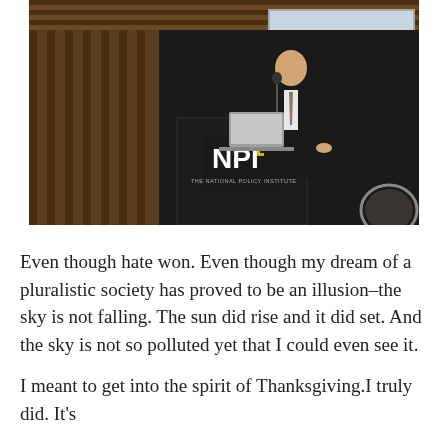[Figure (photo): A man in a dark suit speaking at a podium with an NPI (National Policy Institute) sign. The podium reads 'NPI' in large letters with a logo, and below that 'THE NATIONAL POLICY INSTITUTE'. The setting appears to be a formal conference room with wood paneling and a projection screen behind the speaker.]
Even though hate won. Even though my dream of a pluralistic society has proved to be an illusion–the sky is not falling. The sun did rise and it did set. And the sky is not so polluted yet that I could even see it.
I meant to get into the spirit of Thanksgiving.I truly did. It's